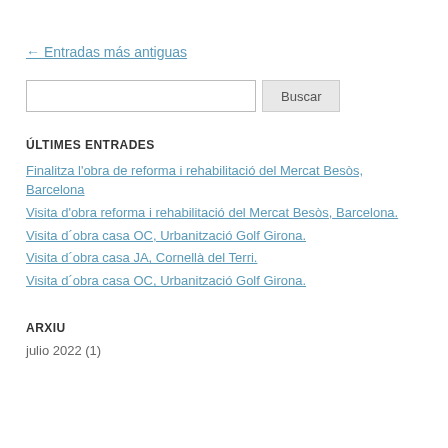← Entradas más antiguas
Buscar [search input]
ÚLTIMES ENTRADES
Finalitza l'obra de reforma i rehabilitació del Mercat Besòs, Barcelona
Visita d'obra reforma i rehabilitació del Mercat Besòs, Barcelona.
Visita d´obra casa OC, Urbanització Golf Girona.
Visita d´obra casa JA, Cornellà del Terri.
Visita d´obra casa OC, Urbanització Golf Girona.
ARXIU
julio 2022 (1)